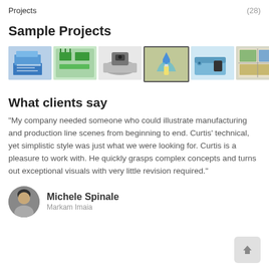Projects   (28)
Sample Projects
[Figure (photo): Strip of 6 project thumbnail images showing various engineering/illustration projects including diagrams, a circuit board layout, a sensor on a pipe, a gloved hand with a vial, a blue device box, and an architectural map.]
What clients say
“My company needed someone who could illustrate manufacturing and production line scenes from beginning to end. Curtis’ technical, yet simplistic style was just what we were looking for. Curtis is a pleasure to work with. He quickly grasps complex concepts and turns out exceptional visuals with very little revision required.”
[Figure (photo): Circular avatar photo of Michele Spinale, a woman with dark hair.]
Michele Spinale
Markam Imaia